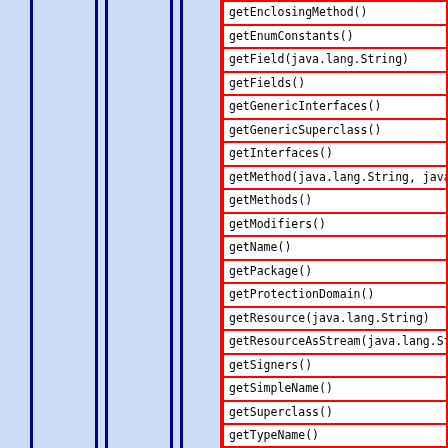| Method |
| --- |
| getEnclosingMethod() |
| getEnumConstants() |
| getField(java.lang.String) |
| getFields() |
| getGenericInterfaces() |
| getGenericSuperclass() |
| getInterfaces() |
| getMethod(java.lang.String, java.lang.Clas |
| getMethods() |
| getModifiers() |
| getName() |
| getPackage() |
| getProtectionDomain() |
| getResource(java.lang.String) |
| getResourceAsStream(java.lang.String) |
| getSigners() |
| getSimpleName() |
| getSuperclass() |
| getTypeName() |
| getTypeParameters() |
| isAnnotation() |
| isAnnotationPresent(java.lang.Class) |
| isAnonymousClass() |
| isArray() |
| isAssignableFrom(java.lang.Class) |